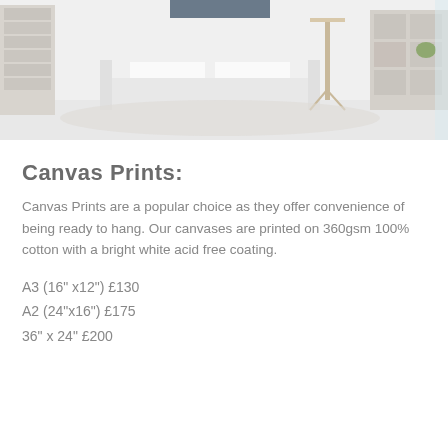[Figure (photo): Interior living room scene with white sofa, floor lamp, bookshelves, and light wood flooring]
Canvas Prints:
Canvas Prints are a popular choice as they offer convenience of being ready to hang. Our canvases are printed on 360gsm 100% cotton with a bright white acid free coating.
A3 (16" x12") £130
A2 (24"x16") £175
36" x 24" £200